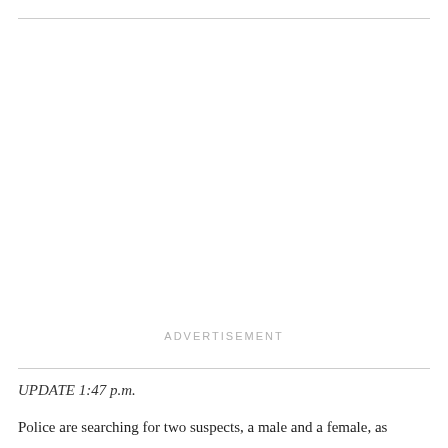[Figure (other): Advertisement placeholder area with 'ADVERTISEMENT' label text centered in the region]
UPDATE 1:47 p.m.
Police are searching for two suspects, a male and a female, as